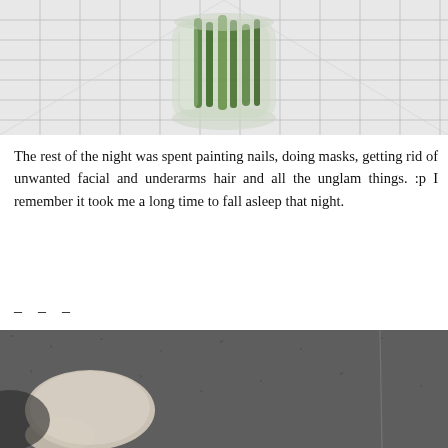[Figure (photo): Photo of a glass jar containing green stems/plant material, placed on a white tiled surface with grid pattern]
The rest of the night was spent painting nails, doing masks, getting rid of unwanted facial and underarms hair and all the unglam things. :p I remember it took me a long time to fall asleep that night.
– – –
[Figure (photo): Close-up photo of a light-colored fuzzy object (possibly a paw or soft toy) against a dark grey textured background]